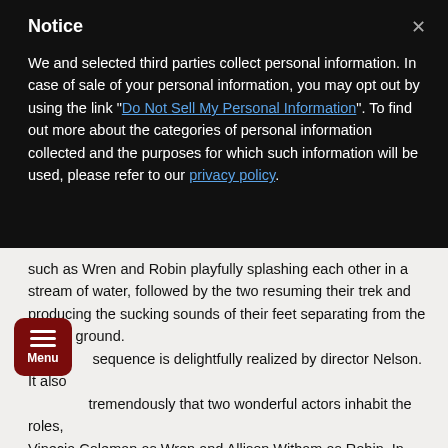Notice
We and selected third parties collect personal information. In case of sale of your personal information, you may opt out by using the link "Do Not Sell My Personal Information". To find out more about the categories of personal information collected and the purposes for which such information will be used, please refer to our privacy policy.
such as Wren and Robin playfully splashing each other in a stream of water, followed by the two resuming their trek and producing the sucking sounds of their feet separating from the muddy ground. sequence is delightfully realized by director Nelson. It also tremendously that two wonderful actors inhabit the roles, Vinecia Coleman as Wren and Allison Witham as Robin. In her training to become Keeper of the Well, Robin learns to tell stories, and throughout the play she comforts Wren with fanciful tales. Witham displays a mastery for bold-faced yarn-spinning, and Coleman captures the open eagerness of those who want to receive solace. As Robin tells Wren when Wren questions a story's truth, a "story may or may not be, but if it gives people hope, it is important."